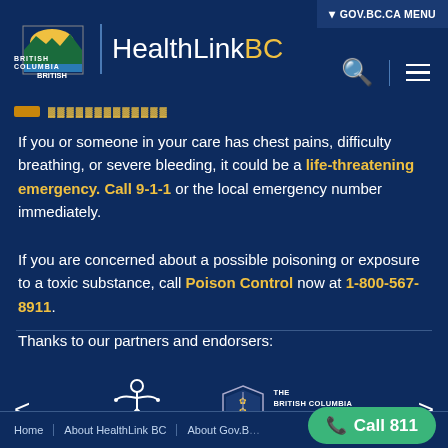HealthLinkBC — GOV.BC.CA MENU
If you or someone in your care has chest pains, difficulty breathing, or severe bleeding, it could be a life-threatening emergency. Call 9-1-1 or the local emergency number immediately.
If you are concerned about a possible poisoning or exposure to a toxic substance, call Poison Control now at 1-800-567-8911.
Thanks to our partners and endorsers:
[Figure (logo): Northern Health logo — stylized figure icon above text 'northern health']
[Figure (logo): The British Columbia College of Family Physicians shield logo with text]
Home | About HealthLink BC | About Gov.BC…  Call 811